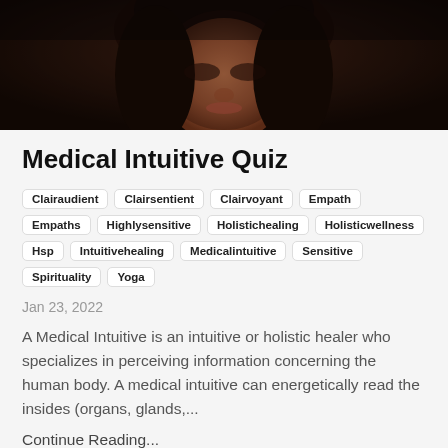[Figure (photo): Close-up photo of a woman's face with dark hair, dimly lit with warm tones]
Medical Intuitive Quiz
Clairaudient
Clairsentient
Clairvoyant
Empath
Empaths
Highlysensitive
Holistichealing
Holisticwellness
Hsp
Intuitivehealing
Medicalintuitive
Sensitive
Spirituality
Yoga
Jan 23, 2022
A Medical Intuitive is an intuitive or holistic healer who specializes in perceiving information concerning the human body. A medical intuitive can energetically read the insides (organs, glands,...
Continue Reading...